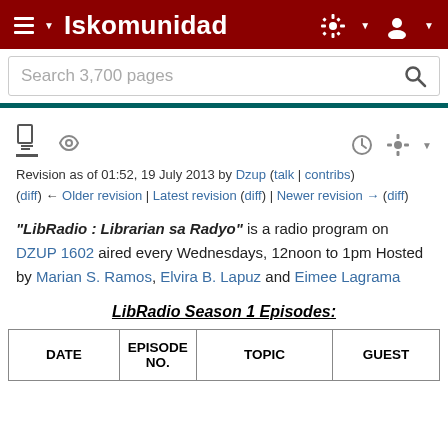Iskomunidad
Revision as of 01:52, 19 July 2013 by Dzup (talk | contribs)
(diff) ← Older revision | Latest revision (diff) | Newer revision → (diff)
"LibRadio : Librarian sa Radyo" is a radio program on DZUP 1602 aired every Wednesdays, 12noon to 1pm Hosted by Marian S. Ramos, Elvira B. Lapuz and Eimee Lagrama
LibRadio Season 1 Episodes:
| DATE | EPISODE NO. | TOPIC | GUEST |
| --- | --- | --- | --- |